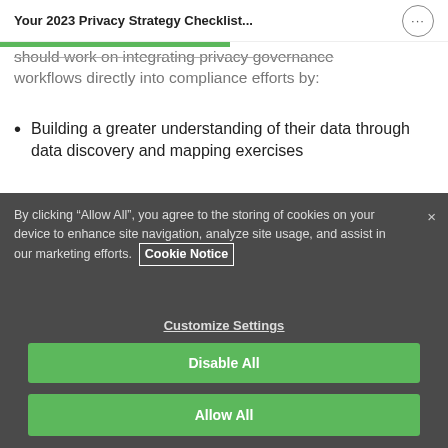Your 2023 Privacy Strategy Checklist...
should work on integrating privacy governance workflows directly into compliance efforts by:
Building a greater understanding of their data through data discovery and mapping exercises
By clicking “Allow All”, you agree to the storing of cookies on your device to enhance site navigation, analyze site usage, and assist in our marketing efforts. Cookie Notice
Customize Settings
Disable All
Allow All